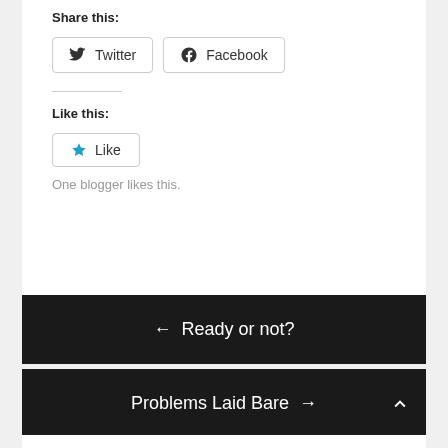Share this:
[Figure (screenshot): Twitter and Facebook share buttons]
Like this:
[Figure (screenshot): Like button with star icon]
One blogger likes this.
← Ready or not?
Problems Laid Bare →